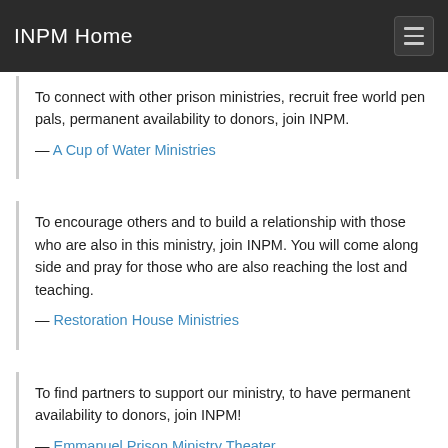INPM Home
To connect with other prison ministries, recruit free world pen pals, permanent availability to donors, join INPM.
— A Cup of Water Ministries
To encourage others and to build a relationship with those who are also in this ministry, join INPM. You will come along side and pray for those who are also reaching the lost and teaching.
— Restoration House Ministries
To find partners to support our ministry, to have permanent availability to donors, join INPM!
— Emmanuel Prison Ministry Theater